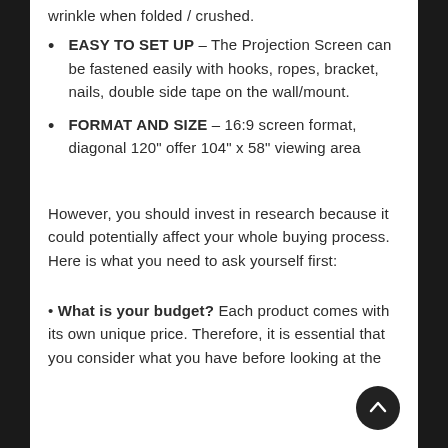EASY TO SET UP – The Projection Screen can be fastened easily with hooks, ropes, bracket, nails, double side tape on the wall/mount.
FORMAT AND SIZE – 16:9 screen format, diagonal 120" offer 104" x 58" viewing area
However, you should invest in research because it could potentially affect your whole buying process. Here is what you need to ask yourself first:
What is your budget? Each product comes with its own unique price. Therefore, it is essential that you consider what you have before looking at the